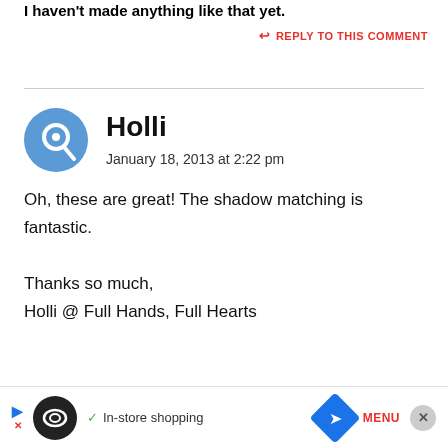I haven't made anything like that yet.
↩ REPLY TO THIS COMMENT
Holli
January 18, 2013 at 2:22 pm
Oh, these are great! The shadow matching is fantastic.

Thanks so much,
Holli @ Full Hands, Full Hearts
[Figure (screenshot): Advertisement bar at the bottom with a black circular logo, checkmark, 'In-store shopping' text, blue diamond navigation icon, 'MENU' text, and close button]